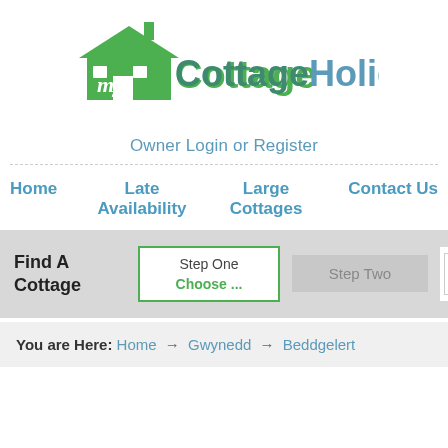[Figure (logo): myCottageHoliday logo with green house icon and stylized 'my' text, followed by 'Cottage' in green and 'Holiday' in blue-grey]
Owner Login or Register
Home   Late Availability   Large Cottages   Contact Us
Find A Cottage   Step One Choose ...   Step Two   [search button]
You are Here: Home → Gwynedd → Beddgelert